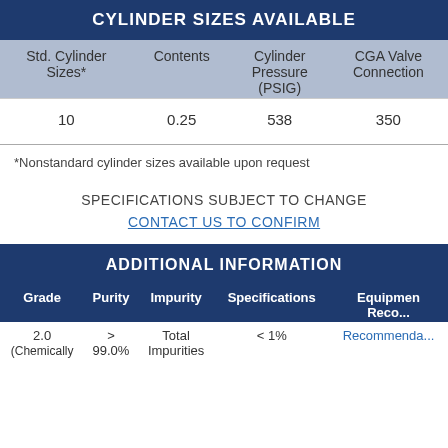CYLINDER SIZES AVAILABLE
| Std. Cylinder Sizes* | Contents | Cylinder Pressure (PSIG) | CGA Valve Connection |
| --- | --- | --- | --- |
| 10 | 0.25 | 538 | 350 |
*Nonstandard cylinder sizes available upon request
SPECIFICATIONS SUBJECT TO CHANGE
CONTACT US TO CONFIRM
ADDITIONAL INFORMATION
| Grade | Purity | Impurity | Specifications | Equipment Reco... |
| --- | --- | --- | --- | --- |
| 2.0
(Chemically | >
99.0% | Total
Impurities | < 1% | Recommenda... |